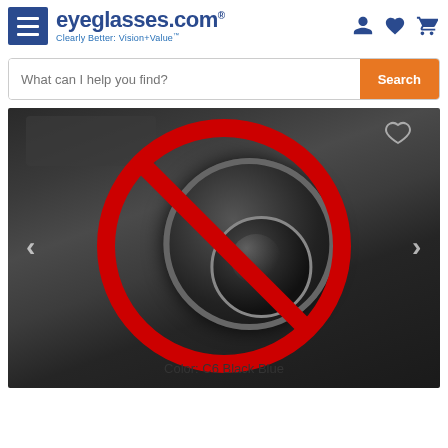eyeglasses.com — Clearly Better: Vision+Value
What can I help you find?
[Figure (screenshot): Blurred photo of a DSLR camera with a large red circle-and-slash (no-photo) symbol overlaid on it, indicating product image is unavailable. A wishlist heart icon appears top-right. Navigation arrows appear on left and right sides.]
Color: C6 Black Blue